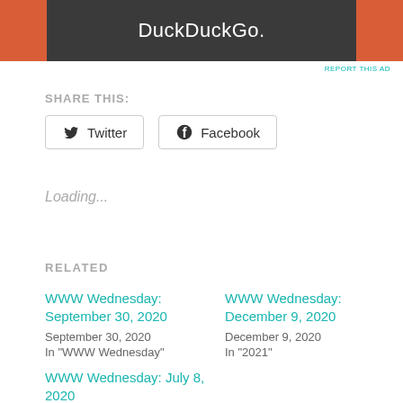[Figure (illustration): DuckDuckGo advertisement banner with orange sides and dark gray center containing white DuckDuckGo. text]
REPORT THIS AD
SHARE THIS:
Twitter   Facebook
Loading...
RELATED
WWW Wednesday: September 30, 2020
September 30, 2020
In "WWW Wednesday"
WWW Wednesday: December 9, 2020
December 9, 2020
In "2021"
WWW Wednesday: July 8, 2020
July 8, 2020
In "WWW Wednesday"